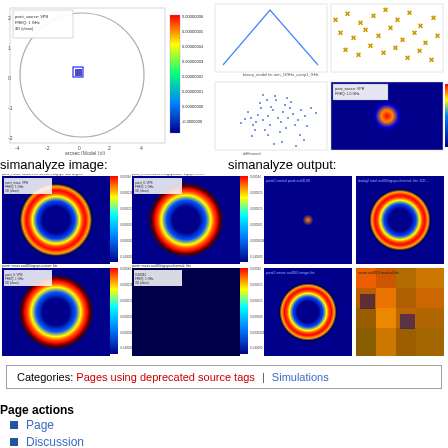[Figure (continuous-plot): Circular beam pattern simulation with heatmap colorbar, showing a large circle and small central blue square source on white background]
[Figure (continuous-plot): Grid of 4 simulation output plots: triangle waveform, scatter of yellow stars, blue scatter cloud, and red/blue heatmap with colorbar]
simanalyze image:
simanalyze output:
[Figure (continuous-plot): Grid of 6 simanalyze image plots showing ring/donut shaped intensity patterns with red-blue heatmap colorbars]
[Figure (continuous-plot): Grid of 6 simanalyze output plots showing ring patterns, residuals and flat fields with heatmap colorbars]
Categories:  Pages using deprecated source tags  |  Simulations
Page actions
Page
Discussion
View source